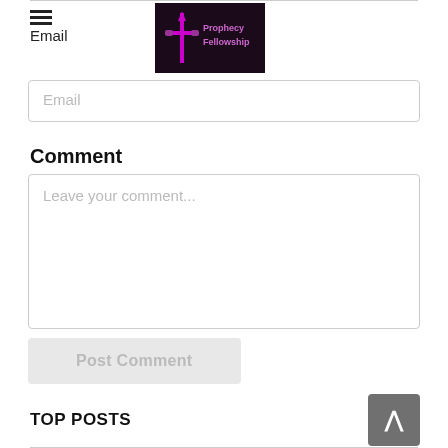Email
[Figure (logo): Prophecy Fellowship logo — a purple stylized cross/sword icon with text 'Prophecy Fellowship' on dark background]
Email
Comment
Leave your comment...
Post Comment
TOP POSTS